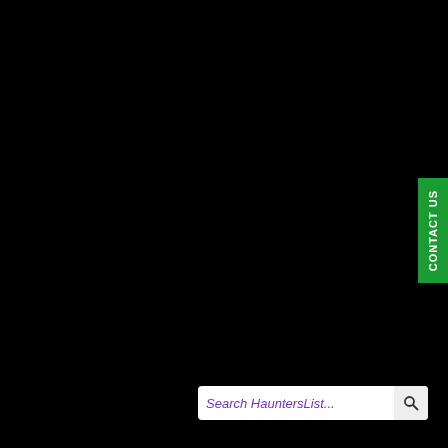[Figure (screenshot): Mostly black background webpage screenshot from HauntersList website]
CONTACT US
Search HauntersList...